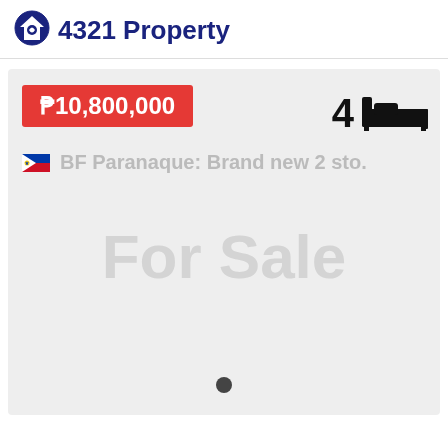4321 Property
₱10,800,000
4 [bed icon]
🇵🇭 BF Paranaque: Brand new 2 sto.
[Figure (other): Watermark text reading 'For Sale' overlaid on the property card in light gray]
[Figure (other): A single dark circular dot used as a carousel/slide indicator at the bottom center of the card]